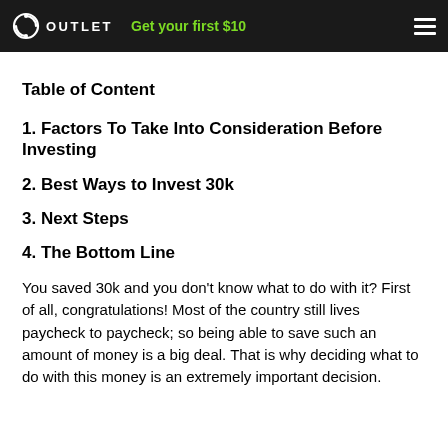OUTLET   Get your first $10
Table of Content
1. Factors To Take Into Consideration Before Investing
2. Best Ways to Invest 30k
3. Next Steps
4. The Bottom Line
You saved 30k and you don't know what to do with it? First of all, congratulations! Most of the country still lives paycheck to paycheck; so being able to save such an amount of money is a big deal. That is why deciding what to do with this money is an extremely important decision.